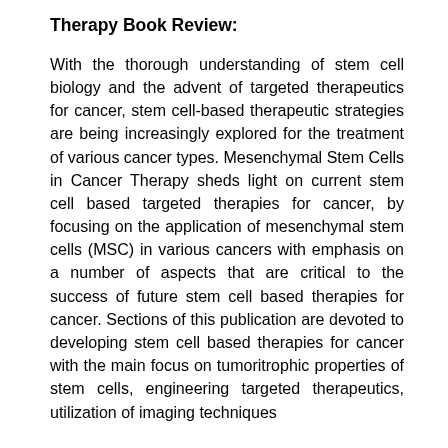Therapy Book Review:
With the thorough understanding of stem cell biology and the advent of targeted therapeutics for cancer, stem cell-based therapeutic strategies are being increasingly explored for the treatment of various cancer types. Mesenchymal Stem Cells in Cancer Therapy sheds light on current stem cell based targeted therapies for cancer, by focusing on the application of mesenchymal stem cells (MSC) in various cancers with emphasis on a number of aspects that are critical to the success of future stem cell based therapies for cancer. Sections of this publication are devoted to developing stem cell based therapies for cancer with the main focus on tumoritrophic properties of stem cells, engineering targeted therapeutics, utilization of imaging techniques